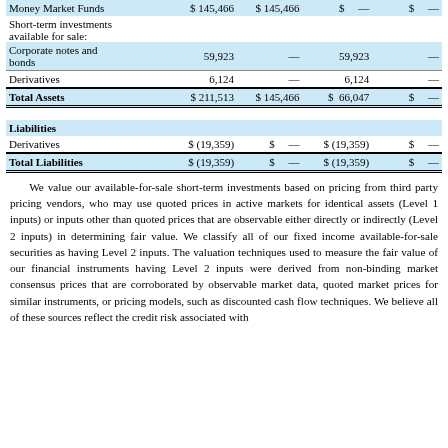|  | Total | Level 1 | Level 2 | Level 3 |
| --- | --- | --- | --- | --- |
| Money Market Funds | $ 145,466 | $ 145,466 | $  — | $  — |
| Short-term investments available for sale: |  |  |  |  |
| Corporate notes and bonds | 59,923 | — | 59,923 | — |
| Derivatives | 6,124 | — | 6,124 | — |
| Total Assets | $ 211,513 | $ 145,466 | $ 66,047 | $  — |
| Liabilities |  |  |  |  |
| Derivatives | $ (19,359) | $  — | $ (19,359) | $  — |
| Total Liabilities | $ (19,359) | $  — | $ (19,359) | $  — |
We value our available-for-sale short-term investments based on pricing from third party pricing vendors, who may use quoted prices in active markets for identical assets (Level 1 inputs) or inputs other than quoted prices that are observable either directly or indirectly (Level 2 inputs) in determining fair value. We classify all of our fixed income available-for-sale securities as having Level 2 inputs. The valuation techniques used to measure the fair value of our financial instruments having Level 2 inputs were derived from non-binding market consensus prices that are corroborated by observable market data, quoted market prices for similar instruments, or pricing models, such as discounted cash flow techniques. We believe all of these sources reflect the credit risk associated with